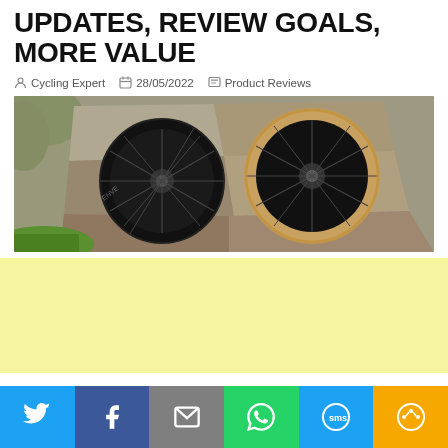UPDATES, REVIEW GOALS, MORE VALUE
Cycling Expert  28/05/2022  Product Reviews
[Figure (photo): Two black carbon bicycle wheels leaning against a stone wall with green foliage in the background]
[Figure (other): Yellow advertisement banner placeholder]
Share buttons: Twitter, Facebook, Email, WhatsApp, SMS, More